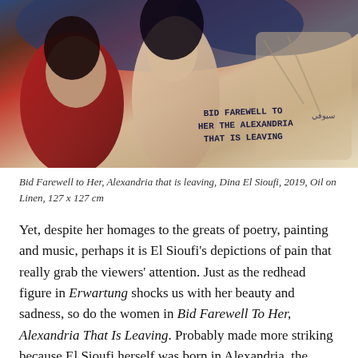[Figure (illustration): Oil painting showing two women in an emotional embrace, with dark hair and one wearing a red dress. Text inscribed on the painting reads 'BID FAREWELL TO HER THE ALEXANDRIA THAT IS LEAVING' with Arabic script.]
Bid Farewell to Her, Alexandria that is leaving, Dina El Sioufi, 2019, Oil on Linen, 127 x 127 cm
Yet, despite her homages to the greats of poetry, painting and music, perhaps it is El Sioufi's depictions of pain that really grab the viewers' attention. Just as the redhead figure in Erwartung shocks us with her beauty and sadness, so do the women in Bid Farewell To Her, Alexandria That Is Leaving. Probably made more striking because El Sioufi herself was born in Alexandria, the painting shows two women just as lovely as the lady in